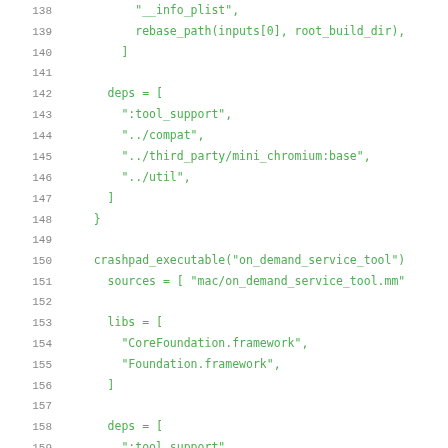Code listing lines 138-159 showing GN build configuration with deps, crashpad_executable, sources, libs arrays